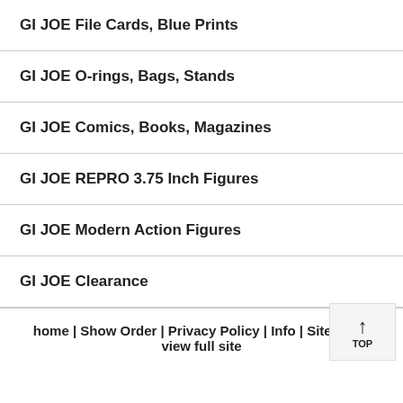GI JOE File Cards, Blue Prints
GI JOE O-rings, Bags, Stands
GI JOE Comics, Books, Magazines
GI JOE REPRO 3.75 Inch Figures
GI JOE Modern Action Figures
GI JOE Clearance
home | Show Order | Privacy Policy | Info | Site Map | view full site